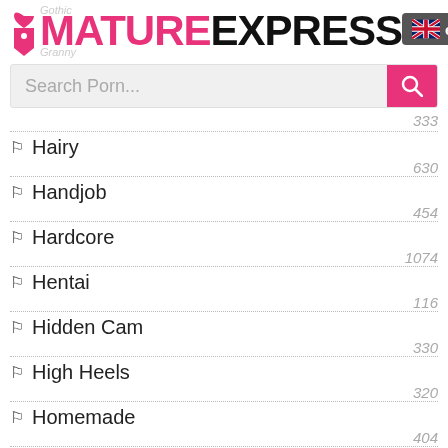[Figure (logo): MatureExpress website logo with pink MATURE and black EXPRESS text, heart/tag icon, ghost text Gothic and Granny]
[Figure (screenshot): UK flag language badge showing 'en']
Search Porn...
Hairy — 630
Handjob — 454
Hardcore — 1074
Hentai — 116
Hidden Cam — 330
High Heels — 320
Homemade — 404
Indian — 503
Insertion — 82
Interracial